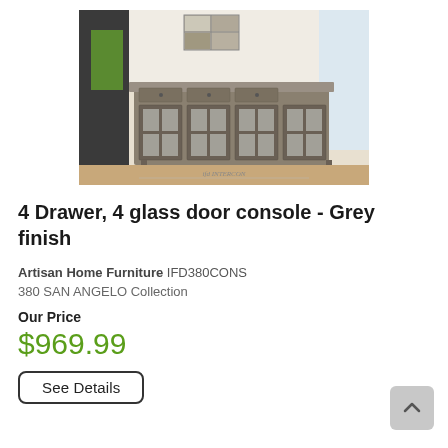[Figure (photo): A grey wood console table with 4 drawers on top and 4 glass-panel cabinet doors on the bottom, displayed in a bright room setting. An IFD Intercon logo/watermark is visible below the image.]
4 Drawer, 4 glass door console - Grey finish
Artisan Home Furniture IFD380CONS
380 SAN ANGELO Collection
Our Price
$969.99
See Details